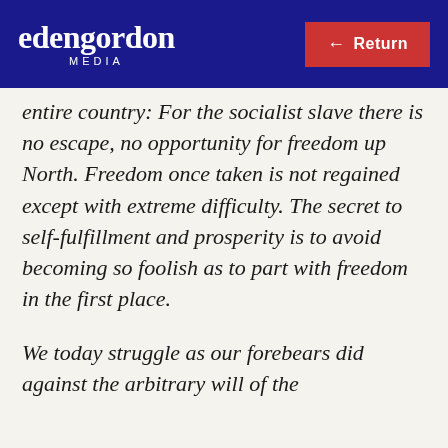edengordon MEDIA
entire country:  For the socialist slave there is no escape, no opportunity for freedom up North.  Freedom once taken is not regained except with extreme difficulty.  The secret to self-fulfillment and prosperity is to avoid becoming so foolish as to part with freedom in the first place.
We today struggle as our forebears did against the arbitrary will of the